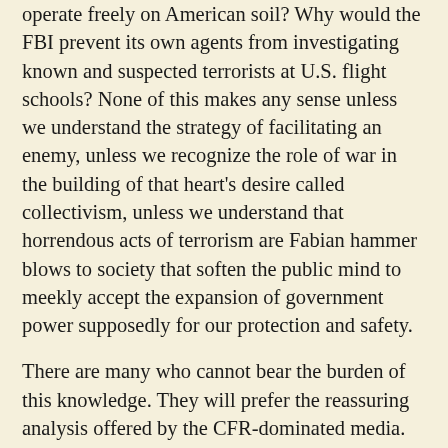operate freely on American soil? Why would the FBI prevent its own agents from investigating known and suspected terrorists at U.S. flight schools? None of this makes any sense unless we understand the strategy of facilitating an enemy, unless we recognize the role of war in the building of that heart's desire called collectivism, unless we understand that horrendous acts of terrorism are Fabian hammer blows to society that soften the public mind to meekly accept the expansion of government power supposedly for our protection and safety.
There are many who cannot bear the burden of this knowledge. They will prefer the reassuring analysis offered by the CFR-dominated media. They will dismiss all of this as conspiracy theory and claim that none of it is proof.
In one sense, they will be right. There is no such thing as absolute proof. There is only evidence. Proof may be defined as sufficient evidence to convince the observer that a particular hypothesis is true. The same evidence that is sufficient to convince one person may be insufficient for another. The case may be proved to the first but not to the second who still needs more evidence. The purpose of this presentation has been to